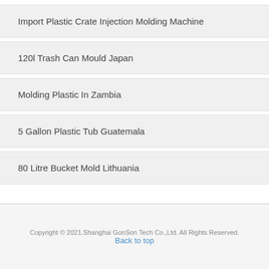Import Plastic Crate Injection Molding Machine
120l Trash Can Mould Japan
Molding Plastic In Zambia
5 Gallon Plastic Tub Guatemala
80 Litre Bucket Mold Lithuania
Copyright © 2021.Shanghai GonSon Tech Co.,Ltd. All Rights Reserved.
Back to top